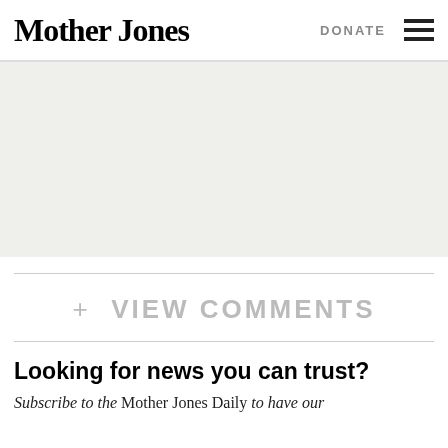Mother Jones  DONATE ☰
[Figure (other): Gray placeholder banner area]
+ VIEW COMMENTS
Looking for news you can trust?
Subscribe to the Mother Jones Daily to have our